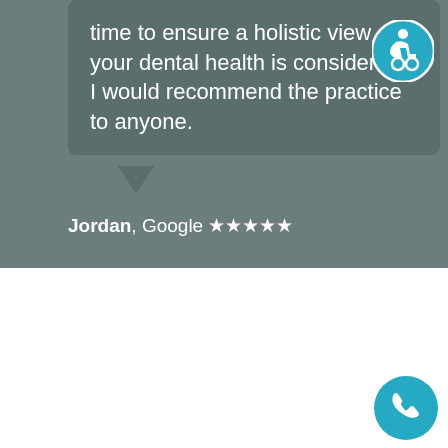time to ensure a holistic view of your dental health is considered. I would recommend the practice to anyone.
Jordan, Google ★★★★★
SOCIAL ENGAGEMENT
CONTACT INFORMATION
SOCIAL LINKS
[Figure (logo): Advance dental practice logo in teal text]
[Figure (logo): Facebook circular logo icon in dark blue/purple]